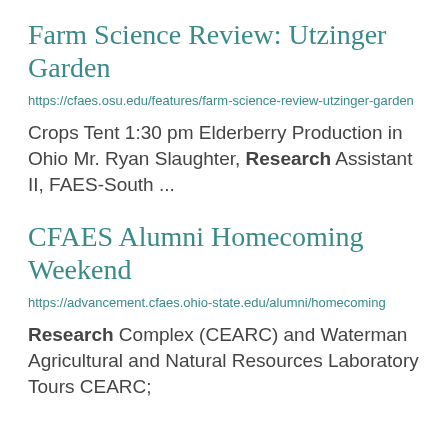Farm Science Review: Utzinger Garden
https://cfaes.osu.edu/features/farm-science-review-utzinger-garden
Crops Tent 1:30 pm Elderberry Production in Ohio Mr. Ryan Slaughter, Research Assistant II, FAES-South ...
CFAES Alumni Homecoming Weekend
https://advancement.cfaes.ohio-state.edu/alumni/homecoming
Research Complex (CEARC) and Waterman Agricultural and Natural Resources Laboratory Tours CEARC;